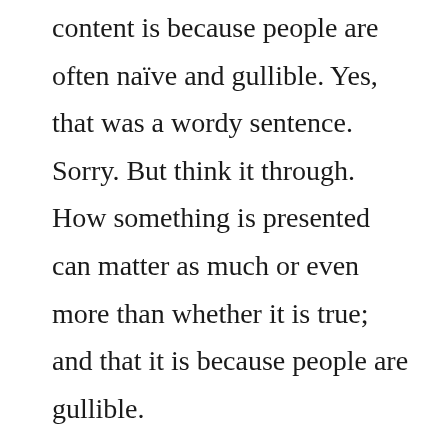content is because people are often naïve and gullible. Yes, that was a wordy sentence. Sorry. But think it through. How something is presented can matter as much or even more than whether it is true; and that it is because people are gullible.
Most people will buy a lousy idea if it is spun persuasively enough,